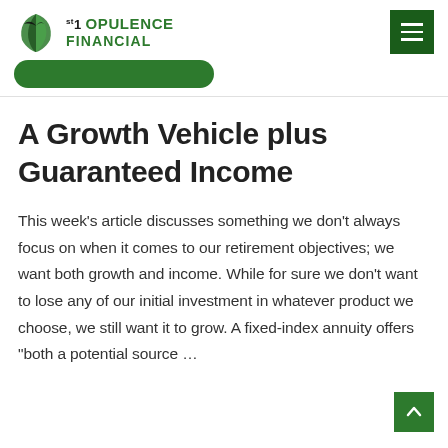1st OPULENCE FINANCIAL
A Growth Vehicle plus Guaranteed Income
This week's article discusses something we don't always focus on when it comes to our retirement objectives; we want both growth and income. While for sure we don't want to lose any of our initial investment in whatever product we choose, we still want it to grow. A fixed-index annuity offers "both a potential source …